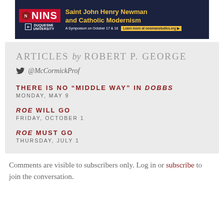[Figure (infographic): NINS / Duquesne University banner advertisement for 'Saint John Henry Newman and Catholic Modernism' symposium on October 17 & 18, with link to newmanstudies.org]
ARTICLES by ROBERT P. GEORGE
@McCormickProf
THERE IS NO “MIDDLE WAY” IN DOBBS
MONDAY, MAY 9
ROE WILL GO
FRIDAY, OCTOBER 1
ROE MUST GO
THURSDAY, JULY 1
Comments are visible to subscribers only. Log in or subscribe to join the conversation.